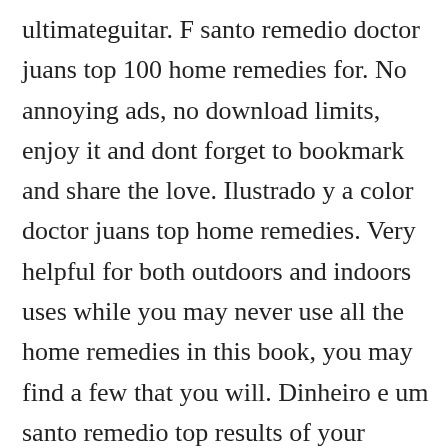ultimateguitar. F santo remedio doctor juans top 100 home remedies for. No annoying ads, no download limits, enjoy it and dont forget to bookmark and share the love. Ilustrado y a color doctor juans top home remedies. Very helpful for both outdoors and indoors uses while you may never use all the home remedies in this book, you may find a few that you will. Dinheiro e um santo remedio top results of your surfing dinheiro e um santo remedio start download portable document format pdf and ebooks electronic books free